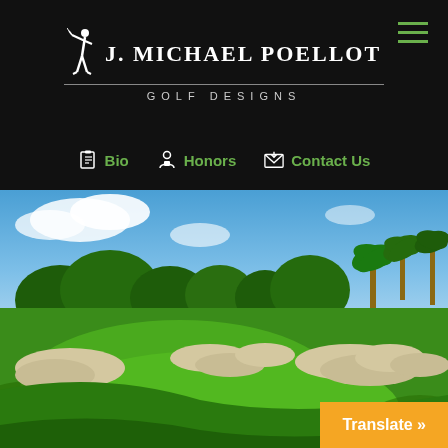[Figure (logo): J. Michael Poellot Golf Designs logo with golfer silhouette on dark background]
Bio   Honors   Contact Us
[Figure (photo): Aerial view of a golf course with lush green fairways, sand bunkers, trees and blue sky]
Translate »